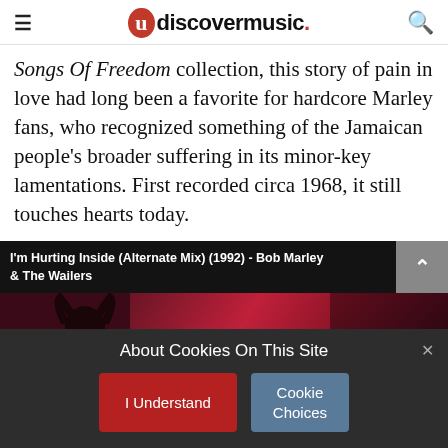udiscovermusic.
Songs Of Freedom collection, this story of pain in love had long been a favorite for hardcore Marley fans, who recognized something of the Jamaican people's broader suffering in its minor-key lamentations. First recorded circa 1968, it still touches hearts today.
[Figure (screenshot): Embedded YouTube video: I'm Hurting Inside (Alternate Mix) (1992) - Bob Marley & The Wailers. Dark background with silhouette of person and text 'I'm Hurting Inside'.]
About Cookies On This Site
I Understand
Cookie Choices